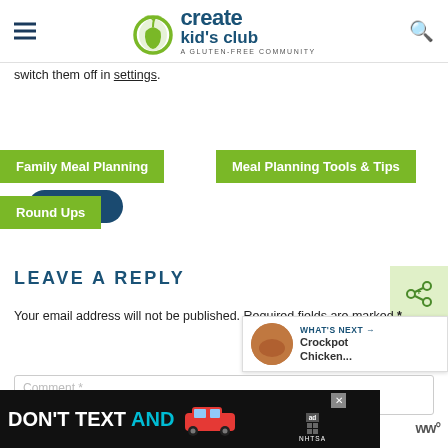Create Kid's Club - A Gluten-Free Community
switch them off in settings.
Accept
Family Meal Planning
Meal Planning Tools & Tips
Round Ups
LEAVE A REPLY
Your email address will not be published. Required fields are marked *
Comment *
[Figure (screenshot): Ad banner: DON'T TEXT AND with NHTSA close button overlay]
[Figure (screenshot): What's Next panel with Crockpot Chicken thumbnail]